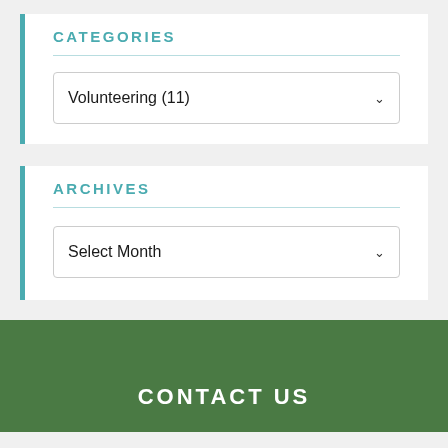CATEGORIES
Volunteering  (11)
ARCHIVES
Select Month
CONTACT US